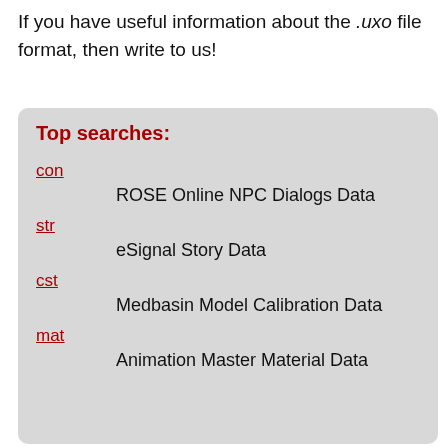If you have useful information about the .uxo file format, then write to us!
Top searches:
con — ROSE Online NPC Dialogs Data
str — eSignal Story Data
cst — Medbasin Model Calibration Data
mat — Animation Master Material Data